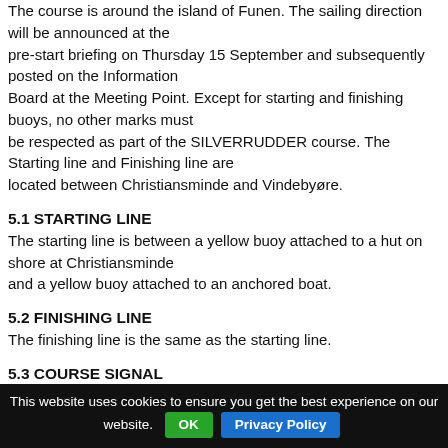The course is around the island of Funen. The sailing direction will be announced at the pre-start briefing on Thursday 15 September and subsequently posted on the Information Board at the Meeting Point. Except for starting and finishing buoys, no other marks must be respected as part of the SILVERRUDDER course. The Starting line and Finishing line are located between Christiansminde and Vindebyøre.
5.1 STARTING LINE
The starting line is between a yellow buoy attached to a hut on shore at Christiansminde and a yellow buoy attached to an anchored boat.
5.2 FINISHING LINE
The finishing line is the same as the starting line.
5.3 COURSE SIGNAL
When a red flag is displayed, Funen must be kept on the port side;
This website uses cookies to ensure you get the best experience on our website. OK  Privacy Policy